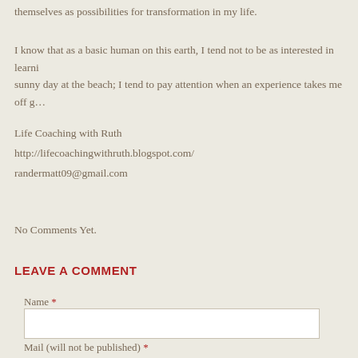themselves as possibilities for transformation in my life.
I know that as a basic human on this earth, I tend not to be as interested in learni… sunny day at the beach; I tend to pay attention when an experience takes me off g…
Life Coaching with Ruth
http://lifecoachingwithruth.blogspot.com/
randermatt09@gmail.com
No Comments Yet.
LEAVE A COMMENT
Name *
Mail (will not be published) *